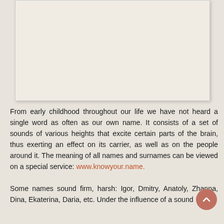[Figure (photo): A large light-colored textured image area (appears blank/placeholder) with a paper or leather texture background, bordered and slightly shadowed.]
From early childhood throughout our life we have not heard a single word as often as our own name. It consists of a set of sounds of various heights that excite certain parts of the brain, thus exerting an effect on its carrier, as well as on the people around it. The meaning of all names and surnames can be viewed on a special service: www.knowyour.name.
Some names sound firm, harsh: Igor, Dmitry, Anatoly, Zhanna, Dina, Ekaterina, Daria, etc. Under the influence of a sound